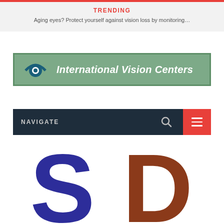TRENDING
Aging eyes? Protect yourself against vision loss by monitoring…
[Figure (logo): International Vision Centers logo — green banner with eye icon and bold italic white text]
[Figure (screenshot): Navigation bar with NAVIGATE label, search icon, and red hamburger menu button]
[Figure (photo): Large blue letter S and partial brown letter visible at bottom of page]